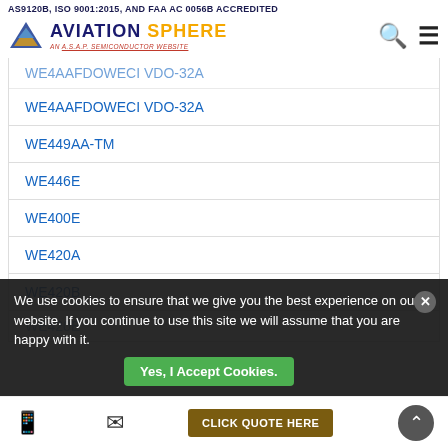AS9120B, ISO 9001:2015, AND FAA AC 0056B ACCREDITED
[Figure (logo): Aviation Sphere logo - blue triangle icon with 'AVIATION SPHERE' text, 'AN A.S.A.P. SEMICONDUCTOR WEBSITE' subtitle, and search/menu navigation icons]
WE4AAFDOWECI VDO-32A
WE449AA-TM
WE446E
WE400E
WE420A
WE420B
WE420E
We use cookies to ensure that we give you the best experience on our website. If you continue to use this site we will assume that you are happy with it.